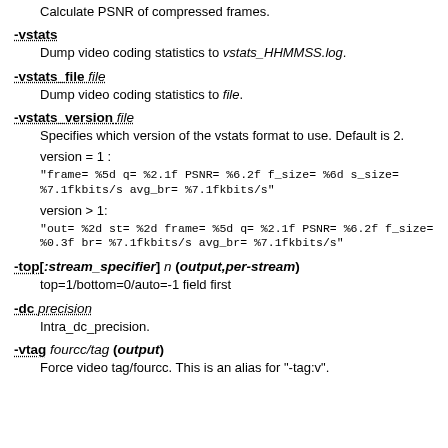Calculate PSNR of compressed frames.
-vstats
Dump video coding statistics to vstats_HHMMSS.log.
-vstats_file file
Dump video coding statistics to file.
-vstats_version file
Specifies which version of the vstats format to use. Default is 2.
version = 1 :
"frame= %5d q= %2.1f PSNR= %6.2f f_size= %6d s_size= %7.1fkbits/s avg_br= %7.1fkbits/s"
version > 1:
"out= %2d st= %2d frame= %5d q= %2.1f PSNR= %6.2f f_size= %0.3f br= %7.1fkbits/s avg_br= %7.1fkbits/s"
-top[:stream_specifier] n (output,per-stream)
top=1/bottom=0/auto=-1 field first
-dc precision
Intra_dc_precision.
-vtag fourcc/tag (output)
Force video tag/fourcc. This is an alias for "-tag:v".